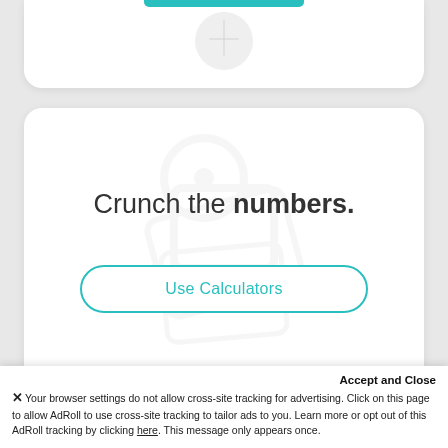[Figure (illustration): Top card with teal bar and circular icon placeholder, partially visible at top of page]
Crunch the numbers.
Use Calculators
[Figure (illustration): Bottom card partially visible with 'Read our blog' text faintly visible]
Read our blog
Accept and Close
Your browser settings do not allow cross-site tracking for advertising. Click on this page to allow AdRoll to use cross-site tracking to tailor ads to you. Learn more or opt out of this AdRoll tracking by clicking here. This message only appears once.